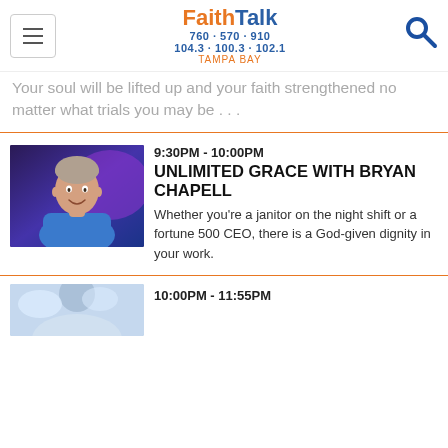FaithTalk 760 570 910 104.3 100.3 102.1 TAMPA BAY
Your soul will be lifted up and your faith strengthened no matter what trials you may be ...
9:30PM - 10:00PM
UNLIMITED GRACE WITH BRYAN CHAPELL
Whether you're a janitor on the night shift or a fortune 500 CEO, there is a God-given dignity in your work.
10:00PM - 11:55PM